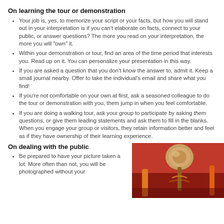On learning the tour or demonstration
Your job is, yes, to memorize your script or your facts, but how you will stand out in your interpretation is if you can't elaborate on facts, connect to your public, or answer questions?  The more you read on your interpretation, the more you will "own" it.
Within your demonstration or tour, find an area of the time period that interests you.  Read up on it.  You can personalize your presentation in this way.
If you are asked a question that you don't know the answer to, admit it. Keep a small journal nearby.  Offer to take the individual's email and share what you find!
If you're not comfortable on your own at first, ask a seasoned colleague to do the tour or demonstration with you, them jump in when you feel comfortable.
If you are doing a walking tour, ask your group to participate by asking them questions, or give them leading statements and ask them to fill in the blanks.  When you engage your group or visitors, they retain information better and feel as if they have ownership of their learning experience.
On dealing with the public
Be prepared to have your picture taken a lot.  More often than not, you will be photographed without your
[Figure (photo): Close-up photo showing historical equipment or tools, appears to be wooden and metal objects against a red/orange background]